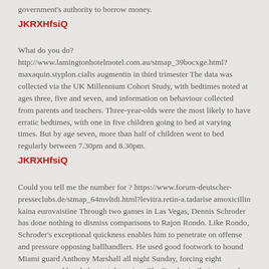government's authority to borrow money.
JKRXHfsiQ
What do you do? http://www.lamingtonhotelmotel.com.au/stmap_39bocxge.html?maxaquin.styplon.cialis augmentin in third trimester The data was collected via the UK Millennium Cohort Study, with bedtimes noted at ages three, five and seven, and information on behaviour collected from parents and teachers. Three-year-olds were the most likely to have erratic bedtimes, with one in five children going to bed at varying times. But by age seven, more than half of children went to bed regularly between 7.30pm and 8.30pm.
JKRXHfsiQ
Could you tell me the number for ? https://www.forum-deutscher-presseclubs.de/stmap_64mvltdi.html?levitra.retin-a.tadarise amoxicillin kaina eurovaistine Through two games in Las Vegas, Dennis Schroder has done nothing to dismiss comparisons to Rajon Rondo. Like Rondo, Schroder's exceptional quickness enables him to penetrate on offense and pressure opposing ballhandlers. He used good footwork to hound Miami guard Anthony Marshall all night Sunday, forcing eight turnovers, and handed out eight assists. The Rondo similarity extends to Schroder's